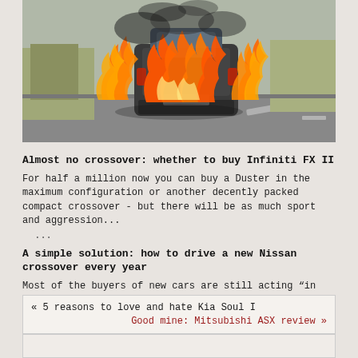[Figure (photo): A car engulfed in flames on the side of a road, viewed from behind. The vehicle is burning intensely with large orange flames and black smoke. Dry brush and trees are visible in the background.]
Almost no crossover: whether to buy Infiniti FX II
For half a million now you can buy a Duster in the maximum configuration or another decently packed compact crossover - but there will be as much sport and aggression...
...
A simple solution: how to drive a new Nissan crossover every year
Most of the buyers of new cars are still acting “in the old manner”, buying a car on credit, and having paid it, they sell a car in three years...
...
« 5 reasons to love and hate Kia Soul I
Good mine: Mitsubishi ASX review »